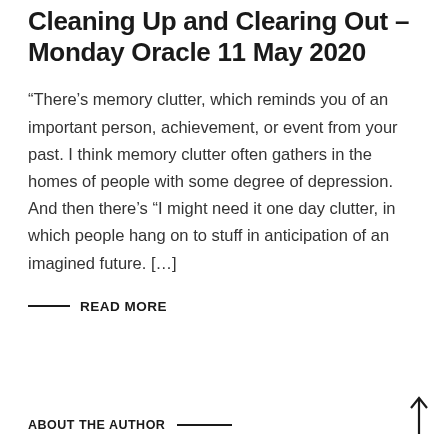Cleaning Up and Clearing Out – Monday Oracle 11 May 2020
“There’s memory clutter, which reminds you of an important person, achievement, or event from your past. I think memory clutter often gathers in the homes of people with some degree of depression. And then there’s “I might need it one day clutter, in which people hang on to stuff in anticipation of an imagined future. […]
READ MORE
ABOUT THE AUTHOR